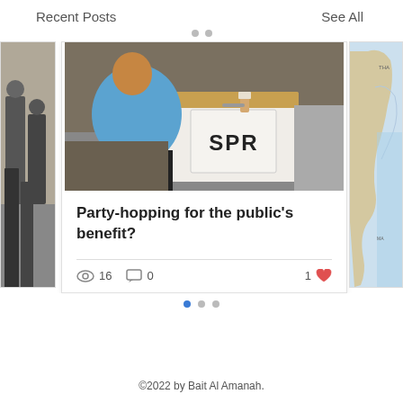Recent Posts   See All
[Figure (photo): A person in a blue shirt bending over an SPR (Malaysian Election Commission) ballot box, inserting a vote. The box is white with the SPR logo.]
Party-hopping for the public's benefit?
16 views  0 comments  1 like
©2022 by Bait Al Amanah.